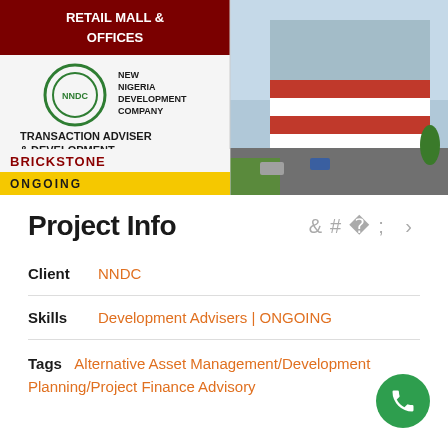[Figure (photo): Composite image showing a retail mall and offices project. Left panel: dark red banner reading 'RETAIL MALL & OFFICES', New Nigeria Development Company logo and text, 'TRANSACTION ADVISER & DEVELOPMENT CONSULTANT', 'BRICKSTONE' in dark red, 'ONGOING' on yellow background. Right panel: architectural rendering of a multi-story retail mall building exterior.]
Project Info
Client  NNDC
Skills  Development Advisers | ONGOING
Tags  Alternative Asset Management/Development Planning/Project Finance Advisory